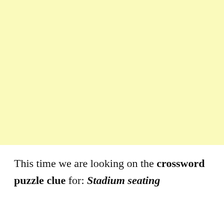[Figure (other): Large yellow/cream colored blank rectangular block occupying the upper portion of the page]
This time we are looking on the crossword puzzle clue for: Stadium seating